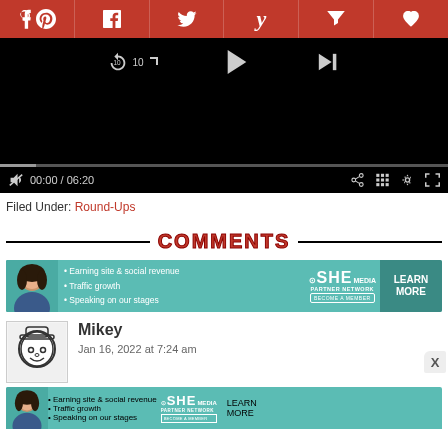[Figure (screenshot): Social sharing toolbar with Pinterest, Facebook, Twitter, Yummly, Flipboard, and Favorite icons on red background]
[Figure (screenshot): Video player showing controls: rewind 10s, play button, skip forward, progress bar at 00:00 / 06:20, mute, share, grid, settings, fullscreen buttons]
Filed Under: Round-Ups
COMMENTS
[Figure (photo): SHE Media Partner Network advertisement banner showing woman, bullet points: Earning site & social revenue, Traffic growth, Speaking on our stages, with LEARN MORE button]
Mikey
Jan 16, 2022 at 7:24 am
[Figure (photo): Second SHE Media Partner Network advertisement banner (partial, same layout as above)]